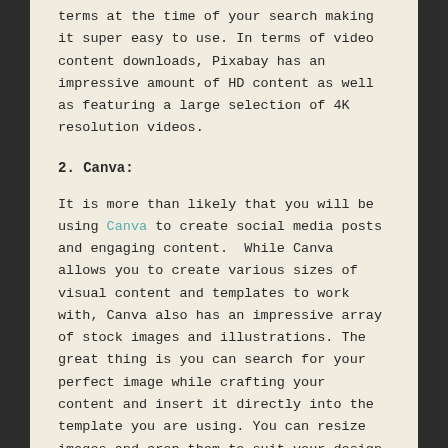terms at the time of your search making it super easy to use. In terms of video content downloads, Pixabay has an impressive amount of HD content as well as featuring a large selection of 4K resolution videos.
2. Canva:
It is more than likely that you will be using Canva to create social media posts and engaging content. While Canva allows you to create various sizes of visual content and templates to work with, Canva also has an impressive array of stock images and illustrations. The great thing is you can search for your perfect image while crafting your content and insert it directly into the template you are using. You can resize images and crop them to suit your design template. Canva is definitely a great all in one solution if you are looking to use stock images and illustrations to craft content on the fly. If you haven't used Canva on your mobile device, we have put together some handy video walk through guides on our YouTube channels for both Android and Apple users.